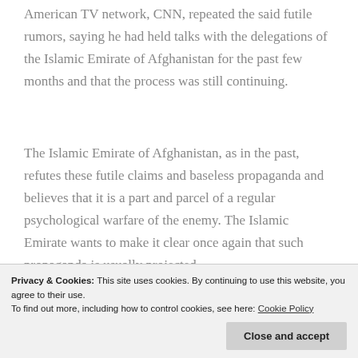American TV network, CNN, repeated the said futile rumors, saying he had held talks with the delegations of the Islamic Emirate of Afghanistan for the past few months and that the process was still continuing.
The Islamic Emirate of Afghanistan, as in the past, refutes these futile claims and baseless propaganda and believes that it is a part and parcel of a regular psychological warfare of the enemy. The Islamic Emirate wants to make it clear once again that such propaganda is usually projected
enemy directly or indirectly to initiate contacts
Privacy & Cookies: This site uses cookies. By continuing to use this website, you agree to their use. To find out more, including how to control cookies, see here: Cookie Policy